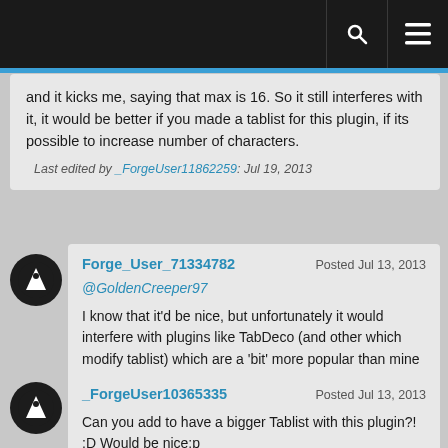and it kicks me, saying that max is 16. So it still interferes with it, it would be better if you made a tablist for this plugin, if its possible to increase number of characters.

Last edited by _ForgeUser11862259: Jul 19, 2013
Forge_User_71334782  Posted Jul 13, 2013
@GoldenCreeper97
I know that it'd be nice, but unfortunately it would interfere with plugins like TabDeco (and other which modify tablist) which are a 'bit' more popular than mine
_ForgeUser10365335  Posted Jul 13, 2013
Can you add to have a bigger Tablist with this plugin?! :D Would be nice:p